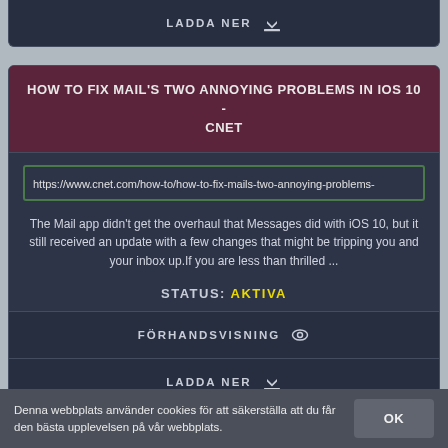LADDA NER
HOW TO FIX MAIL'S TWO ANNOYING PROBLEMS IN IOS 10 - CNET
https://www.cnet.com/how-to/how-to-fix-mails-two-annoying-problems-
The Mail app didn't get the overhaul that Messages did with iOS 10, but it still received an update with a few changes that might be tripping you and your inbox up.If you are less than thrilled ...
STATUS: AKTIVA
FÖRHANDSVISNING
LADDA NER
Denna webbplats använder cookies för att säkerställa att du får den bästa upplevelsen på vår webbplats.
OK